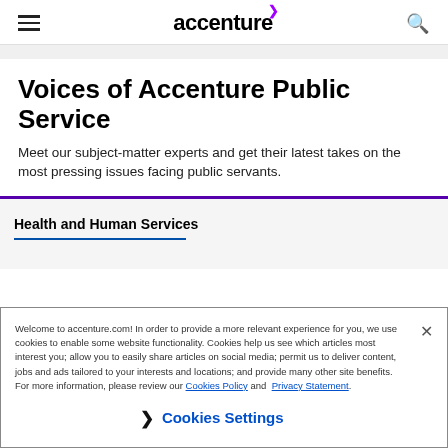[Figure (logo): Accenture logo with purple arrow accent and hamburger menu and search icon in header]
Voices of Accenture Public Service
Meet our subject-matter experts and get their latest takes on the most pressing issues facing public servants.
Health and Human Services
Welcome to accenture.com! In order to provide a more relevant experience for you, we use cookies to enable some website functionality. Cookies help us see which articles most interest you; allow you to easily share articles on social media; permit us to deliver content, jobs and ads tailored to your interests and locations; and provide many other site benefits. For more information, please review our Cookies Policy and Privacy Statement.
Cookies Settings